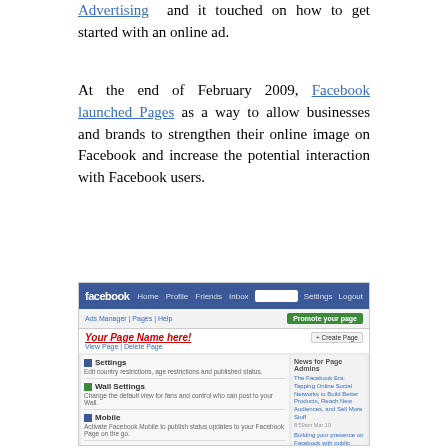Advertising and it touched on how to get started with an online ad.
At the end of February 2009, Facebook launched Pages as a way to allow businesses and brands to strengthen their online image on Facebook and increase the potential interaction with Facebook users.
[Figure (screenshot): A screenshot of the Facebook Pages interface showing the navigation bar with Home, Profile, Friends, Inbox links, a breadcrumb showing Ads Manager > Pages > Help, a 'Promote your page' green button, a page name field showing 'Your Page Name here!' in red italic, View Page and Delete Page links, a Create Page button, settings sections for Settings, Wall Settings, Mobile, Applications/Discussion Boards, and a right sidebar with News for Page Admins showing links to Facebook Era articles.]